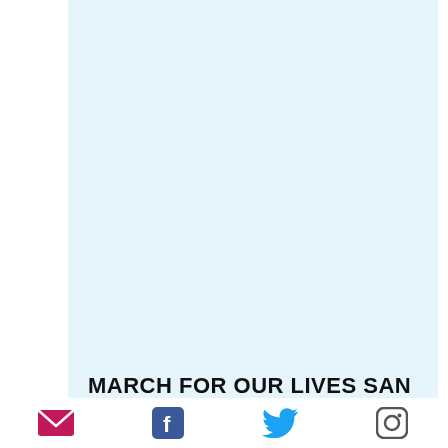[Figure (illustration): Light blue background panel filling the upper portion of the page]
MARCH FOR OUR LIVES SAN JOSÉ
[Figure (infographic): Footer row with four social media icons: email/envelope (pink/magenta), Facebook (blue), Twitter (light blue bird), Instagram (grey outline camera)]